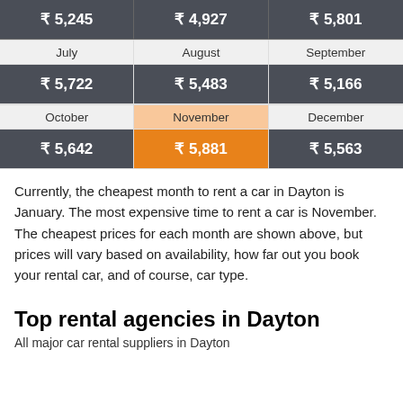| Month | Month | Month |
| --- | --- | --- |
| ₹ 5,245 | ₹ 4,927 | ₹ 5,801 |
| July | August | September |
| ₹ 5,722 | ₹ 5,483 | ₹ 5,166 |
| October | November | December |
| ₹ 5,642 | ₹ 5,881 | ₹ 5,563 |
Currently, the cheapest month to rent a car in Dayton is January. The most expensive time to rent a car is November. The cheapest prices for each month are shown above, but prices will vary based on availability, how far out you book your rental car, and of course, car type.
Top rental agencies in Dayton
All major car rental suppliers in Dayton